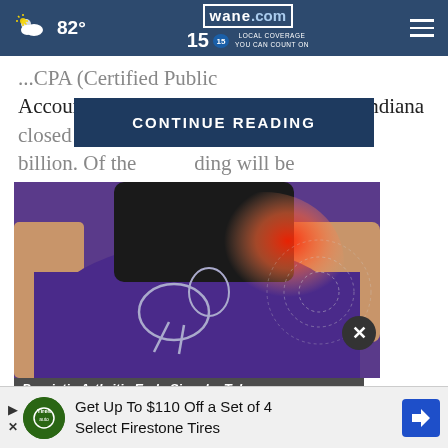wane.com 15 LOCAL COVERAGE YOU CAN COUNT ON | 82°
...CPA (Certified Public Accountant) announced Wednesday that Indiana closed the 202... of $3.9 billion. Of the ... ding will be
CONTINUE READING
[Figure (photo): Medical illustration of hip/pelvis area with red inflammation indicator, person wearing purple pants and black shirt, with circular concentric rings suggesting pain radiation]
Psoriatic Arthritis Early Signals: Tak
Get Up To $110 Off a Set of 4 Select Firestone Tires